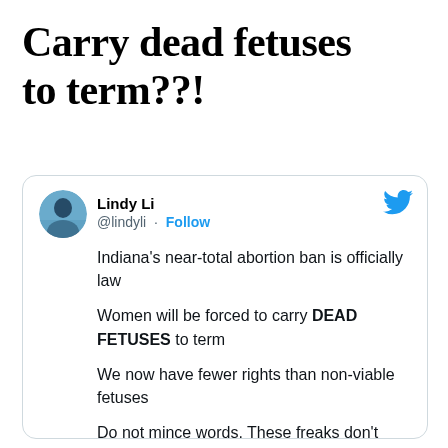Carry dead fetuses to term??!
[Figure (screenshot): Screenshot of a tweet by Lindy Li (@lindyli) with a Follow button and Twitter bird icon. The tweet reads: 'Indiana’s near-total abortion ban is officially law / Women will be forced to carry DEAD FETUSES to term / We now have fewer rights than non-viable fetuses / Do not mince words. These freaks don’t deserve the veneer']